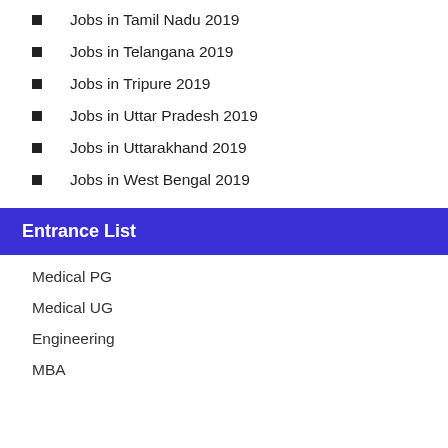Jobs in Tamil Nadu 2019
Jobs in Telangana 2019
Jobs in Tripure 2019
Jobs in Uttar Pradesh 2019
Jobs in Uttarakhand 2019
Jobs in West Bengal 2019
Entrance List
Medical PG
Medical UG
Engineering
MBA